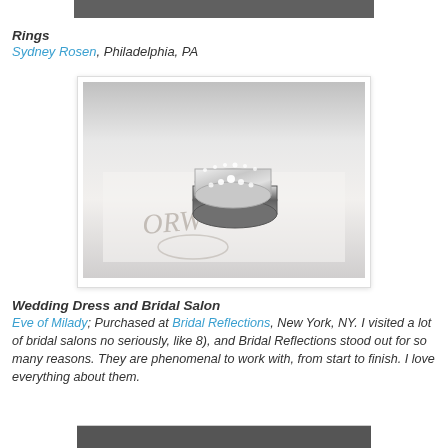[Figure (photo): Partial top strip of a photo cropped at the top of the page]
Rings
Sydney Rosen, Philadelphia, PA
[Figure (photo): Close-up photo of wedding rings and a band resting on a paper with calligraphy monogram lettering]
Wedding Dress and Bridal Salon
Eve of Milady; Purchased at Bridal Reflections, New York, NY. I visited a lot of bridal salons no seriously, like 8), and Bridal Reflections stood out for so many reasons. They are phenomenal to work with, from start to finish. I love everything about them.
[Figure (photo): Partial bottom strip of another photo cropped at the bottom of the page]